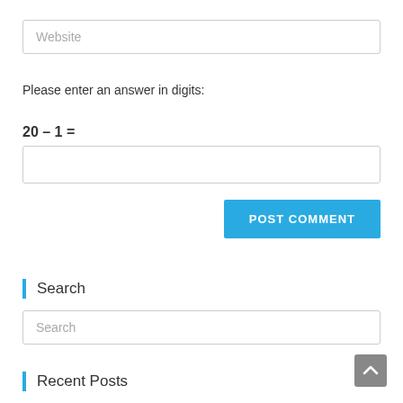Website
Please enter an answer in digits:
Search
Search
Recent Posts